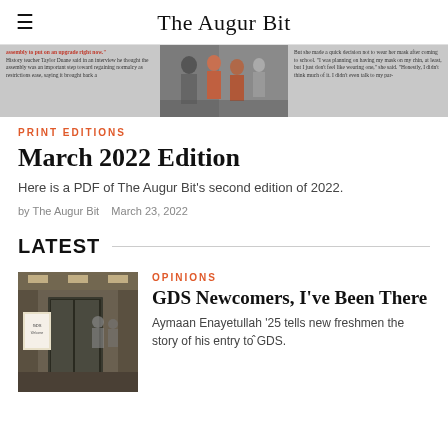The Augur Bit
[Figure (photo): Newspaper article image strip showing students and text columns]
PRINT EDITIONS
March 2022 Edition
Here is a PDF of The Augur Bit's second edition of 2022.
by The Augur Bit   March 23, 2022
LATEST
[Figure (photo): Photo of school entrance/lobby area with people and a sign]
OPINIONS
GDS Newcomers, I've Been There
Aymaan Enayetullah '25 tells new freshmen the story of his entry to GDS.